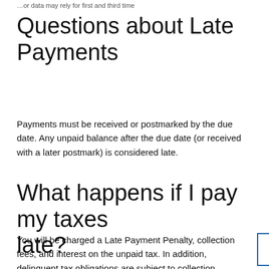…or data may rely for first and third time
Questions about Late Payments
Payments must be received or postmarked by the due date. Any unpaid balance after the due date (or received with a later postmark) is considered late.
What happens if I pay my taxes late?
You will be charged a Late Payment Penalty, collection fees, and interest on the unpaid tax. In addition, delinquent tax obligations are subject to collection action. The